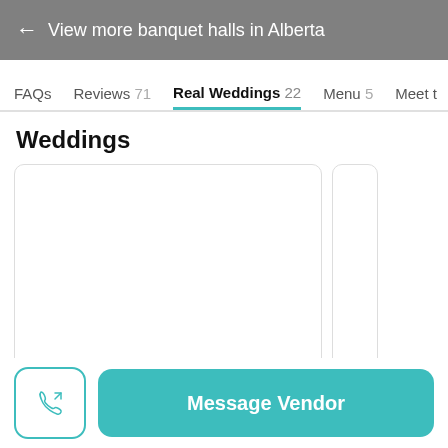← View more banquet halls in Alberta
FAQs
Reviews 71
Real Weddings 22
Menu 5
Meet t
Weddings
[Figure (other): White card placeholder with rounded border]
Message Vendor